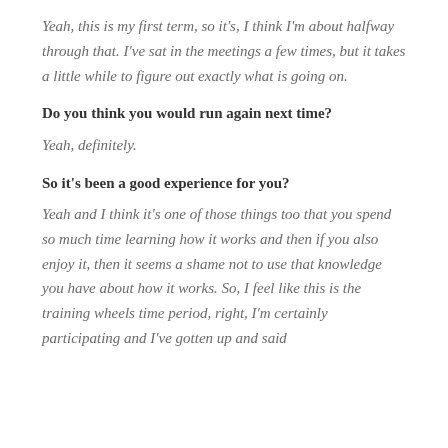Yeah, this is my first term, so it's, I think I'm about halfway through that. I've sat in the meetings a few times, but it takes a little while to figure out exactly what is going on.
Do you think you would run again next time?
Yeah, definitely.
So it's been a good experience for you?
Yeah and I think it's one of those things too that you spend so much time learning how it works and then if you also enjoy it, then it seems a shame not to use that knowledge you have about how it works. So, I feel like this is the training wheels time period, right, I'm certainly participating and I've gotten up and said